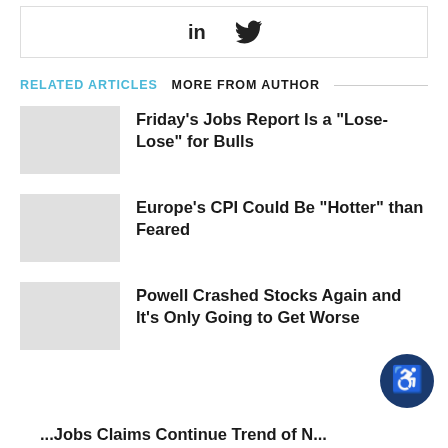[Figure (other): Social sharing icons for LinkedIn and Twitter inside a bordered box]
RELATED ARTICLES   MORE FROM AUTHOR
Friday’s Jobs Report Is a “Lose-Lose” for Bulls
Europe’s CPI Could Be “Hotter” than Feared
Powell Crashed Stocks Again and It’s Only Going to Get Worse
[Figure (other): Accessibility button icon (wheelchair symbol) in dark blue circle]
...